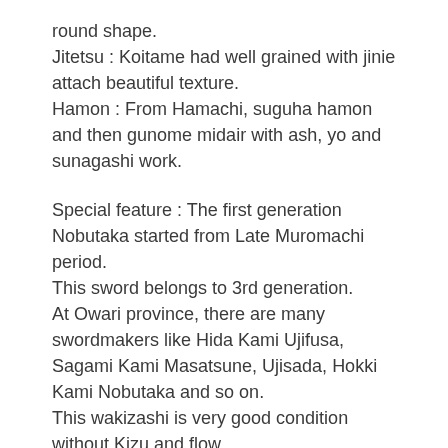round shape.
Jitetsu : Koitame had well grained with jinie attach beautiful texture.
Hamon : From Hamachi, suguha hamon and then gunome midair with ash, yo and sunagashi work.
Special feature : The first generation Nobutaka started from Late Muromachi period.
This sword belongs to 3rd generation.
At Owari province, there are many swordmakers like Hida Kami Ujifusa, Sagami Kami Masatsune, Ujisada, Hokki Kami Nobutaka and so on.
This wakizashi is very good condition without Kizu and flow.
The blade accompany with Tokubetsu Hozon paper.